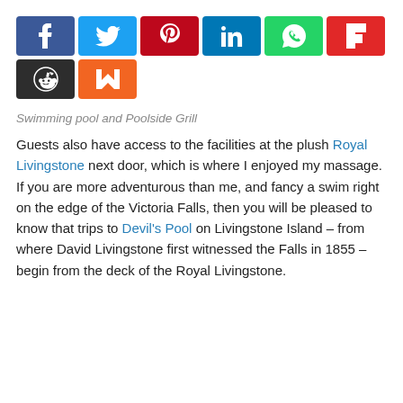[Figure (other): Social sharing buttons row: Facebook (blue), Twitter (light blue), Pinterest (dark red), LinkedIn (blue), WhatsApp (green), Flipboard (red), Reddit (dark grey), Mix/Mixcloud (orange)]
Swimming pool and Poolside Grill
Guests also have access to the facilities at the plush Royal Livingstone next door, which is where I enjoyed my massage. If you are more adventurous than me, and fancy a swim right on the edge of the Victoria Falls, then you will be pleased to know that trips to Devil's Pool on Livingstone Island – from where David Livingstone first witnessed the Falls in 1855 – begin from the deck of the Royal Livingstone.